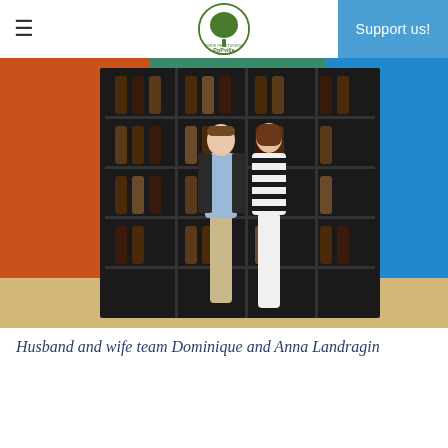PoPville (Pride of Petworth) — Support us!
[Figure (photo): A man and woman (husband and wife team Dominique and Anna Landragin) standing together in front of a dark wine rack/shelving unit filled with wine bottles, in a colorful retail store setting with orange, teal, and blue walls.]
Husband and wife team Dominique and Anna Landragin